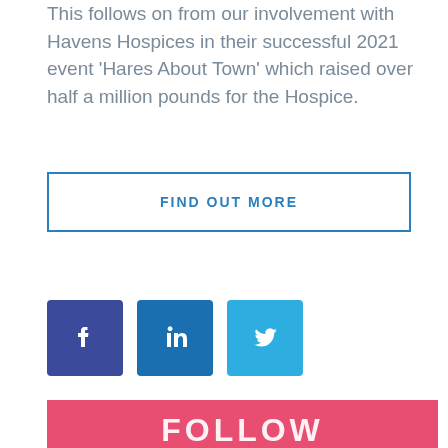This follows on from our involvement with Havens Hospices in their successful 2021 event 'Hares About Town' which raised over half a million pounds for the Hospice.
FIND OUT MORE
[Figure (infographic): Three social media icon buttons: Facebook (dark blue), LinkedIn (medium blue), Twitter (light blue)]
[Figure (infographic): Pink/rose banner with white text reading FOLLOW (partially visible)]